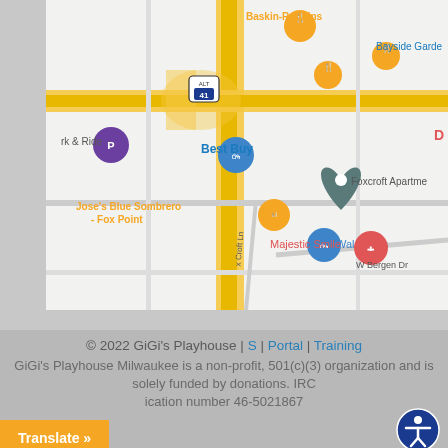[Figure (map): Google Maps screenshot showing area near Fox Point, Milwaukee. Visible landmarks include Baskin-Robbins, Best Buy, Jose's Blue Sombrero - Fox Point, Walgreens, Foxcroft Apartments, Majestic Smile, and road labels including W Bergen Dr, N Mohawk, and ALT 41 highway marker. Park & Ride marker also visible.]
© 2022 GiGi's Playhouse | S | Portal | Training
GiGi's Playhouse Milwaukee is a non-profit, 501(c)(3) organization and is solely funded by donations. IRC ication number 46-5021867
Translate »